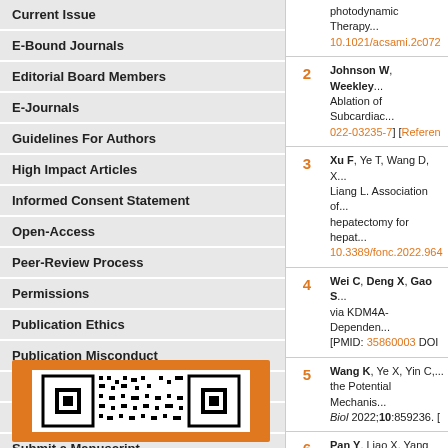Current Issue
E-Bound Journals
Editorial Board Members
E-Journals
Guidelines For Authors
High Impact Articles
Informed Consent Statement
Open-Access
Peer-Review Process
Permissions
Publication Ethics
Publication Misconduct
Statement of Human and Animal
Steps for Submitting Manuscripts
Submit a Manuscript
[Figure (other): QR code on orange background]
2 Johnson W, Weekley... Ablation of Subcardia... 022-03235-7] [Referen...
3 Xu F, Ye T, Wang D, X... Liang L. Association of... hepatectomy for hepat... 10.3389/fonc.2022.964...
4 Wei C, Deng X, Gao S... via KDM4A-Dependen... [PMID: 35860003 DOI...
5 Wang K, Ye X, Yin C,... the Potential Mechanis... Biol 2022;10:859236.
6 Pan Y, Liao X, Yang L... [Apocynaceae] Suppre... [DOI: 10.3389/fphar.20...
7 Guo X, Xiong H, Don... for Early Detection of H... 2022;2022:5403423. [
8 Qiu Y, Yang Y, Wang T...